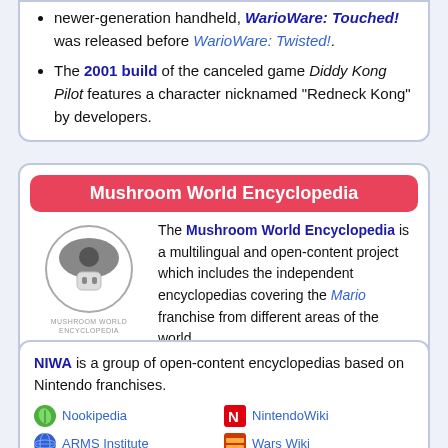newer-generation handheld, WarioWare: Touched! was released before WarioWare: Twisted!.
The 2001 build of the canceled game Diddy Kong Pilot features a character nicknamed "Redneck Kong" by developers.
Mushroom World Encyclopedia
[Figure (logo): Mushroom World Encyclopedia logo: a grey mushroom with dark cap inside a circle, with the text MUSHROOM WORLD ENCYCLOPEDIA below]
The Mushroom World Encyclopedia is a multilingual and open-content project which includes the independent encyclopedias covering the Mario franchise from different areas of the world.
English | German | Italian
NIWA is a group of open-content encyclopedias based on Nintendo franchises.
Nookipedia
NintendoWiki
ARMS Institute
Wars Wiki